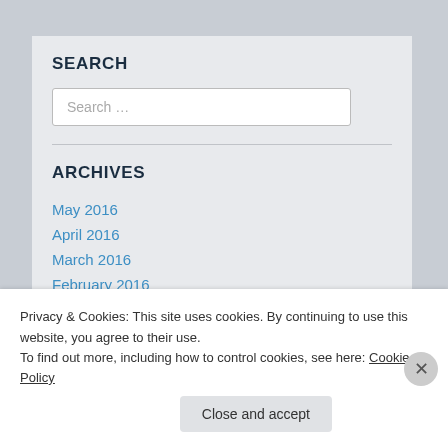SEARCH
Search …
ARCHIVES
May 2016
April 2016
March 2016
February 2016
January 2016
December 2015
Privacy & Cookies: This site uses cookies. By continuing to use this website, you agree to their use.
To find out more, including how to control cookies, see here: Cookie Policy
Close and accept